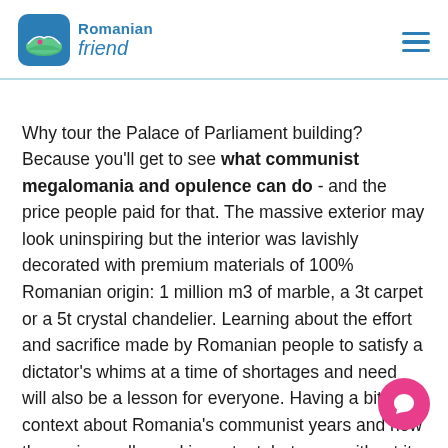Romanian friend
Why tour the Palace of Parliament building? Because you'll get to see what communist megalomania and opulence can do - and the price people paid for that. The massive exterior may look uninspiring but the interior was lavishly decorated with premium materials of 100% Romanian origin: 1 million m3 of marble, a 3t carpet or a 5t crystal chandelier. Learning about the effort and sacrifice made by Romanian people to satisfy a dictator's whims at a time of shortages and need will also be a lesson for everyone. Having a bit of context about Romania's communist years and how the regime collapsed important, but even without it you'll still get to see